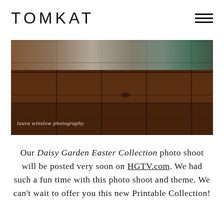TOMKAT
[Figure (photo): Photo of wooden plank table surface with flowers and Easter decorations at the top, with text overlay 'laura winslow photography']
laura winslow photography
Our Daisy Garden Easter Collection photo shoot will be posted very soon on HGTV.com. We had such a fun time with this photo shoot and theme. We can't wait to offer you this new Printable Collection!